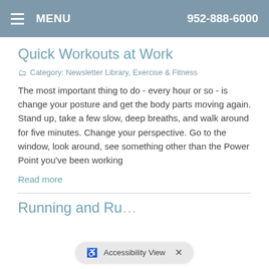MENU   952-888-6000
Quick Workouts at Work
Category: Newsletter Library, Exercise & Fitness
The most important thing to do - every hour or so - is change your posture and get the body parts moving again. Stand up, take a few slow, deep breaths, and walk around for five minutes. Change your perspective. Go to the window, look around, see something other than the Power Point you've been working
Read more
Running and Ru...
Accessibility View